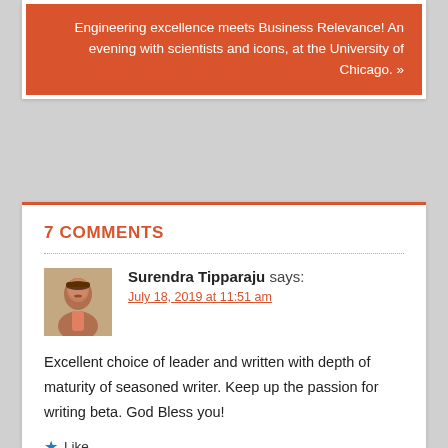Engineering excellence meets Business Relevance! An evening with scientists and icons, at the University of Chicago. »
7 COMMENTS
[Figure (photo): Avatar photo of Surendra Tipparaju, a man in a pink shirt]
Surendra Tipparaju says:
July 18, 2019 at 11:51 am
Excellent choice of leader and written with depth of maturity of seasoned writer. Keep up the passion for writing beta. God Bless you!
Like